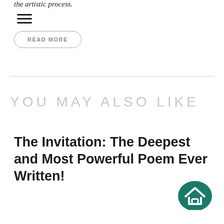the artistic process.
[Figure (infographic): Hamburger menu icon (three horizontal lines)]
READ MORE
YOU MAY ALSO LIKE
The Invitation: The Deepest and Most Powerful Poem Ever Written!
[Figure (logo): Teal circular logo with a house/roof icon]